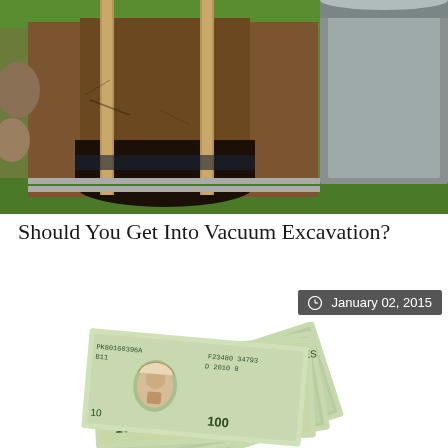[Figure (photo): Excavated hole in the ground with wooden stakes/posts, showing dark soil and a large metal container/bucket on the right side, surrounded by green grass]
Should You Get Into Vacuum Excavation?
January 02, 2015
[Figure (photo): Fanned out stack of US $100 dollar bills showing Benjamin Franklin's portrait]